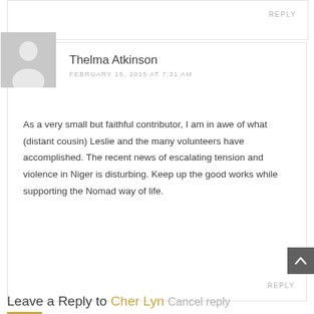REPLY
Thelma Atkinson
FEBRUARY 15, 2015 AT 7:31 AM
As a very small but faithful contributor, I am in awe of what (distant cousin) Leslie and the many volunteers have accomplished. The recent news of escalating tension and violence in Niger is disturbing. Keep up the good works while supporting the Nomad way of life.
REPLY
Leave a Reply to Cher Lyn Cancel reply